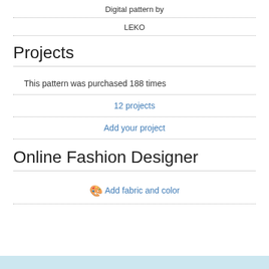Digital pattern by
LEKO
Projects
This pattern was purchased 188 times
12 projects
Add your project
Online Fashion Designer
Add fabric and color